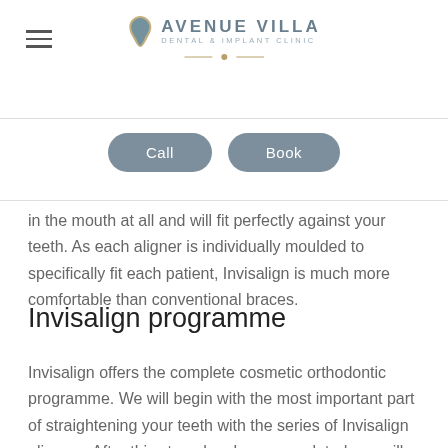Avenue Villa Dental & Implant Clinic
Call   Book
in the mouth at all and will fit perfectly against your teeth. As each aligner is individually moulded to specifically fit each patient, Invisalign is much more comfortable than conventional braces.
Invisalign programme
Invisalign offers the complete cosmetic orthodontic programme. We will begin with the most important part of straightening your teeth with the series of Invisalign aligners. After this stage has been completed, we will whiten your teeth (if required), followed by any recontouring (if